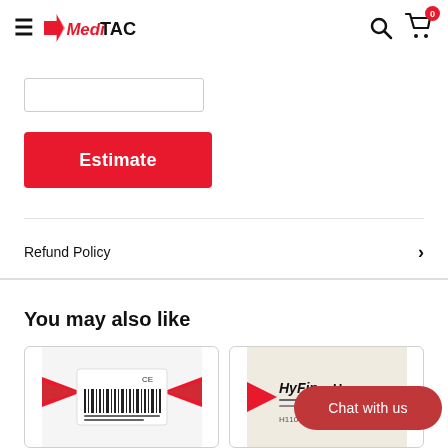MediTAC — navigation bar with hamburger menu, logo, search icon, cart icon with badge 0
[Figure (screenshot): White input text box, empty]
Estimate
Refund Policy
You may also like
[Figure (photo): Medical product with barcode and CE mark, red wings/fins on packaging]
[Figure (photo): HyFin product packaging partially visible]
Chat with us